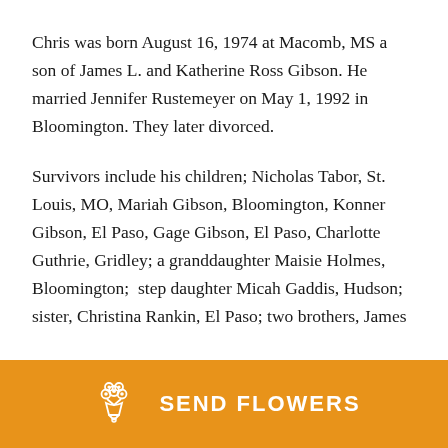Chris was born August 16, 1974 at Macomb, MS a son of James L. and Katherine Ross Gibson. He married Jennifer Rustemeyer on May 1, 1992 in Bloomington. They later divorced.
Survivors include his children; Nicholas Tabor, St. Louis, MO, Mariah Gibson, Bloomington, Konner Gibson, El Paso, Gage Gibson, El Paso, Charlotte Guthrie, Gridley; a granddaughter Maisie Holmes, Bloomington;  step daughter Micah Gaddis, Hudson;  sister, Christina Rankin, El Paso; two brothers, James
[Figure (other): Orange button with flower bouquet icon and text SEND FLOWERS]